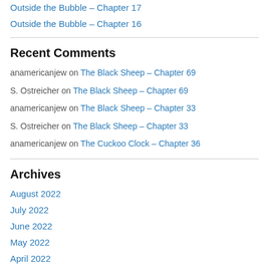Outside the Bubble – Chapter 17
Outside the Bubble – Chapter 16
Recent Comments
anamericanjew on The Black Sheep – Chapter 69
S. Ostreicher on The Black Sheep – Chapter 69
anamericanjew on The Black Sheep – Chapter 33
S. Ostreicher on The Black Sheep – Chapter 33
anamericanjew on The Cuckoo Clock – Chapter 36
Archives
August 2022
July 2022
June 2022
May 2022
April 2022